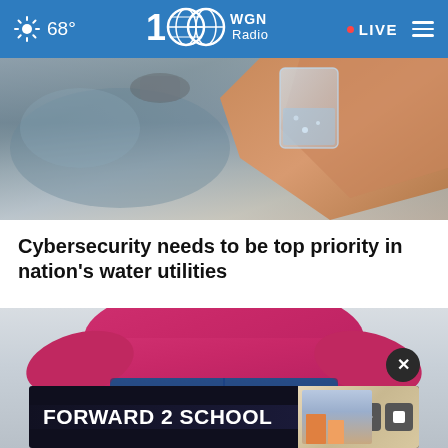68° WGN Radio LIVE
[Figure (photo): A hand holding a glass of water under a kitchen faucet/sink, close-up shot with metallic sink background]
Cybersecurity needs to be top priority in nation's water utilities
[Figure (photo): A person wearing a red/pink top and blue jeans, hands clasped behind their back, standing against a light background]
[Figure (other): Advertisement banner: FORWARD 2 SCHOOL with people and a building image, with play and close icons]